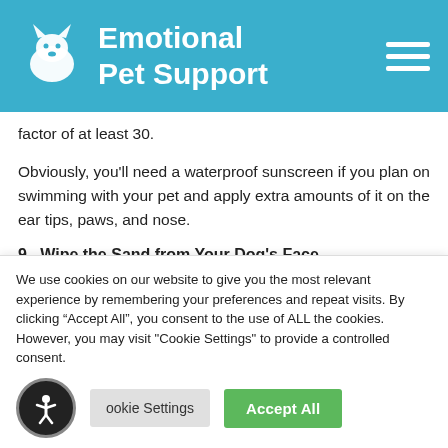Emotional Pet Support
factor of at least 30.
Obviously, you’ll need a waterproof sunscreen if you plan on swimming with your pet and apply extra amounts of it on the ear tips, paws, and nose.
9.  Wipe the Sand from Your Dog’s Face
We use cookies on our website to give you the most relevant experience by remembering your preferences and repeat visits. By clicking “Accept All”, you consent to the use of ALL the cookies. However, you may visit "Cookie Settings" to provide a controlled consent.